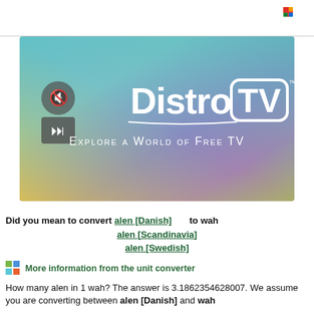[Figure (screenshot): DistroTV advertisement banner with colorful gradient background (teal, purple, yellow). Shows DistroTV logo and tagline 'EXPLORE A WORLD OF FREE TV'. Has mute and play/pause button icons on the left.]
Did you mean to convert alen [Danish]      to wah
alen [Scandinavia]
alen [Swedish]
More information from the unit converter
How many alen in 1 wah? The answer is 3.1862354628007. We assume you are converting between alen [Danish] and wah